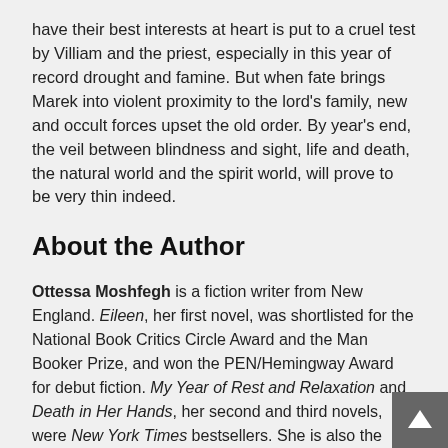have their best interests at heart is put to a cruel test by Villiam and the priest, especially in this year of record drought and famine. But when fate brings Marek into violent proximity to the lord's family, new and occult forces upset the old order. By year's end, the veil between blindness and sight, life and death, the natural world and the spirit world, will prove to be very thin indeed.
About the Author
Ottessa Moshfegh is a fiction writer from New England. Eileen, her first novel, was shortlisted for the National Book Critics Circle Award and the Man Booker Prize, and won the PEN/Hemingway Award for debut fiction. My Year of Rest and Relaxation and Death in Her Hands, her second and third novels, were New York Times bestsellers. She is also the author of the short story collection Homesick for Another World and a novella McGlue. She lives in Southern California.